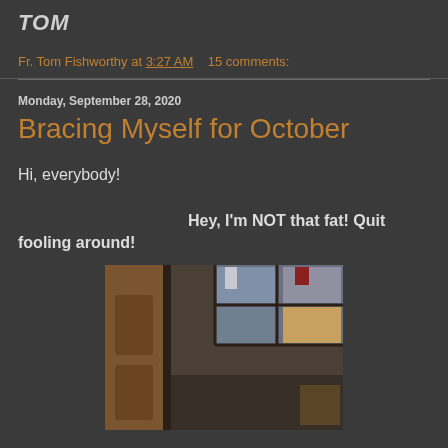TOM
Fr. Tom Fishworthy at 3:27 AM    15 comments:
Monday, September 28, 2020
Bracing Myself for October
Hi, everybody!
Hey, I'm NOT that fat! Quit fooling around!
[Figure (photo): Indoor photo showing a doorway or window frame with wooden trim, with light coming through window panes, partial view of a room interior]